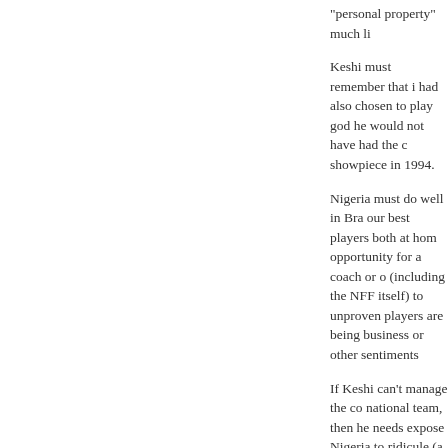"personal property" much li
Keshi must remember that i had also chosen to play god he would not have had the c showpiece in 1994.
Nigeria must do well in Bra our best players both at hom opportunity for a coach or o (including the NFF itself) to unproven players are being business or other sentiments
If Keshi can't manage the co national team, then he needs expose Nigeria to ridicule (a 2013) on the world stage.
CCG MEDIA AT 11:04 SHARE
Sanusi takes the issu courts